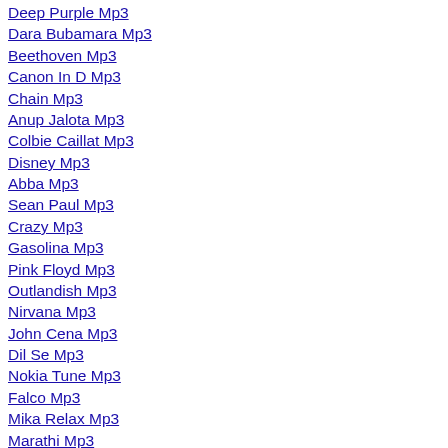Deep Purple Mp3
Dara Bubamara Mp3
Beethoven Mp3
Canon In D Mp3
Chain Mp3
Anup Jalota Mp3
Colbie Caillat Mp3
Disney Mp3
Abba Mp3
Sean Paul Mp3
Crazy Mp3
Gasolina Mp3
Pink Floyd Mp3
Outlandish Mp3
Nirvana Mp3
John Cena Mp3
Dil Se Mp3
Nokia Tune Mp3
Falco Mp3
Mika Relax Mp3
Marathi Mp3
Elton John Mp3
La Mp3
Dragon Ball Mp3
Karl Wolf Mp3